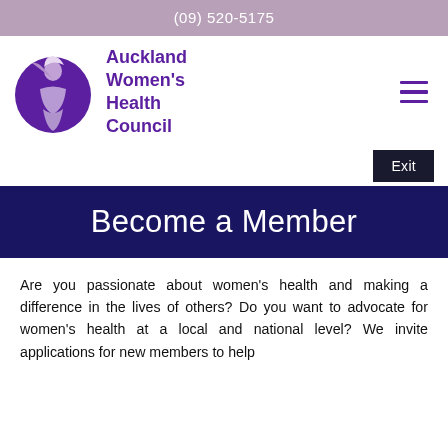(09) 520-5175
[Figure (logo): Auckland Women's Health Council logo — purple circle with woman figure illustration, next to bold purple text reading Auckland Women's Health Council]
[Figure (infographic): Hamburger menu icon — three horizontal purple lines]
Exit
Become a Member
Are you passionate about women's health and making a difference in the lives of others? Do you want to advocate for women's health at a local and national level? We invite applications for new members to help